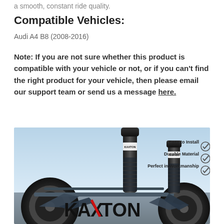a smooth, constant ride quality.
Compatible Vehicles:
Audi A4 B8 (2008-2016)
Note: If you are not sure whether this product is compatible with your vehicle or not, or if you can't find the right product for your vehicle, then please email our support team or send us a message here.
[Figure (photo): KAXTON brand product advertisement showing two air suspension struts mounted on a car chassis/suspension system. Text overlay shows checkmarks with: Easy to Install, Durable Material, Perfect in Workmanship. Large KAXTON logo with red X accent at bottom.]